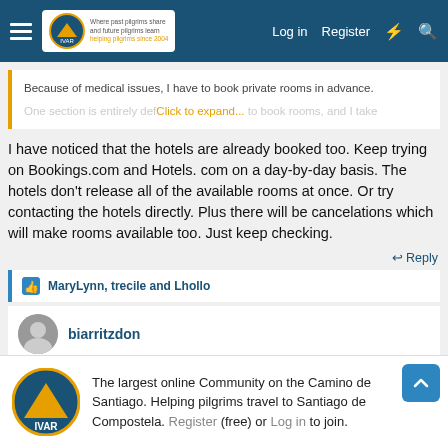The Camino de Santiago forum - Log in | Register
Because of medical issues, I have to book private rooms in advance.
One section is entirely def... Click to expand... to book rooms, and I take
I have noticed that the hotels are already booked too. Keep trying on Bookings.com and Hotels. com on a day-by-day basis. The hotels don't release all of the available rooms at once. Or try contacting the hotels directly. Plus there will be cancelations which will make rooms available too. Just keep checking.
↩ Reply
MaryLynn, trecile and Lhollo
biarritzdon
The largest online Community on the Camino de Santiago. Helping pilgrims travel to Santiago de Compostela. Register (free) or Log in to join.